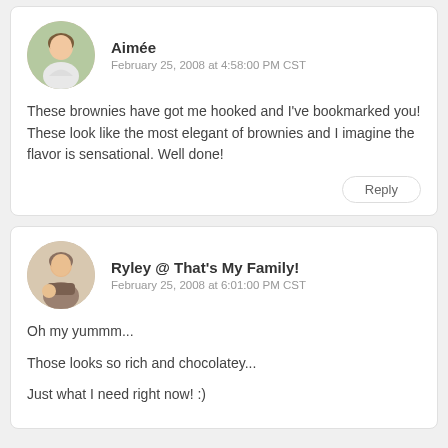Aimée
February 25, 2008 at 4:58:00 PM CST
These brownies have got me hooked and I've bookmarked you! These look like the most elegant of brownies and I imagine the flavor is sensational. Well done!
Reply
Ryley @ That's My Family!
February 25, 2008 at 6:01:00 PM CST
Oh my yummm...
Those looks so rich and chocolatey...
Just what I need right now! :)